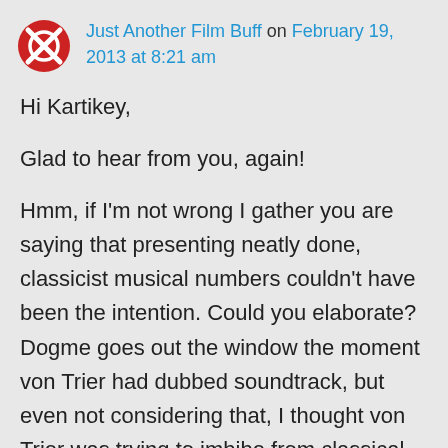Just Another Film Buff on February 19, 2013 at 8:21 am
Hi Kartikey,

Glad to hear from you, again!

Hmm, if I'm not wrong I gather you are saying that presenting neatly done, classicist musical numbers couldn't have been the intention. Could you elaborate? Dogme goes out the window the moment von Trier had dubbed soundtrack, but even not considering that, I thought von Trier was trying to imbibe from classical musicals and create a straightforward musical in these passages. Personally, I think his